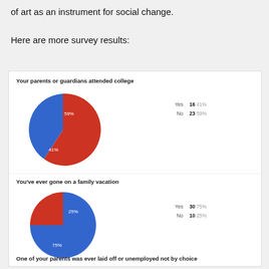of art as an instrument for social change.
Here are more survey results:
[Figure (pie-chart): Your parents or guardians attended college]
[Figure (pie-chart): You've ever gone on a family vacation]
One of your parents was ever laid off or unemployed not by choice